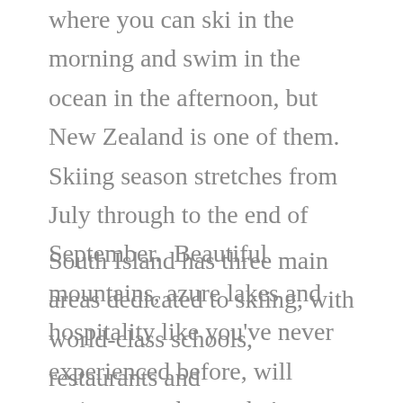where you can ski in the morning and swim in the ocean in the afternoon, but New Zealand is one of them.  Skiing season stretches from July through to the end of September.  Beautiful mountains, azure lakes and hospitality like you've never experienced before, will entice even those who've never skied, to take to the slopes.
South Island has three main areas dedicated to skiing, with world-class schools, restaurants and accommodation on offer.  On North Island, the largest commercial ski field is at Mt Ruapehu, which is an active volcano.  No matter where you ski, the